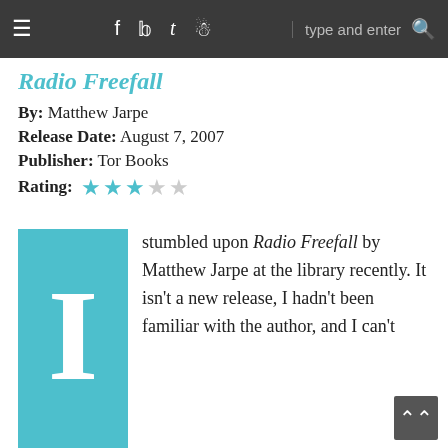≡  f  𝕥  t  ☷  type and enter  🔍
Radio Freefall
By: Matthew Jarpe
Release Date: August 7, 2007
Publisher: Tor Books
Rating: ★★★☆☆
I stumbled upon Radio Freefall by Matthew Jarpe at the library recently. It isn't a new release, I hadn't been familiar with the author, and I can't recall ever hearing about the novel. So, naturally, I checked it out immediately, knowing nothing but what the flap copy said – this this was a cyberpunk story with rock and